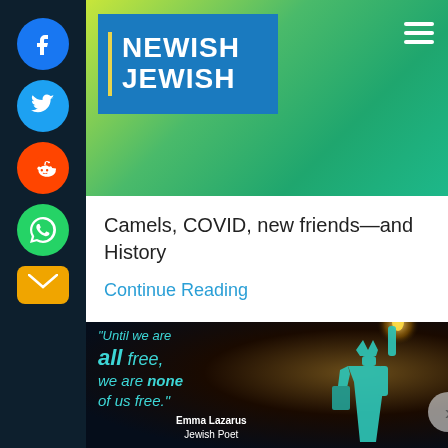[Figure (logo): Newish Jewish logo on teal/blue background with yellow vertical bar]
Camels, COVID, new friends—and History
Continue Reading
[Figure (illustration): Quote image with Statue of Liberty: "Until we are all free, we are none of us free." — Emma Lazarus, Jewish Poet, on dark starry background]